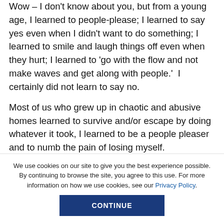Wow – I don't know about you, but from a young age, I learned to people-please; I learned to say yes even when I didn't want to do something; I learned to smile and laugh things off even when they hurt; I learned to 'go with the flow and not make waves and get along with people.'  I certainly did not learn to say no.

Most of us who grew up in chaotic and abusive homes learned to survive and/or escape by doing whatever it took, I learned to be a people pleaser and to numb the pain of losing myself.
We use cookies on our site to give you the best experience possible. By continuing to browse the site, you agree to this use. For more information on how we use cookies, see our Privacy Policy.